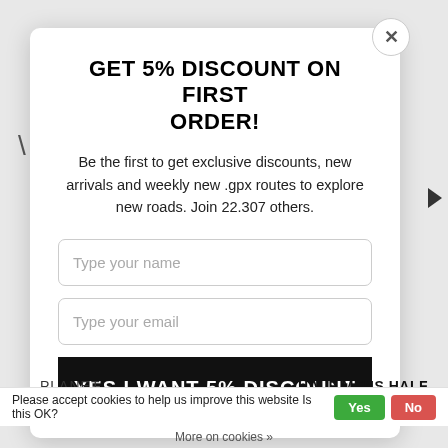GET 5% DISCOUNT ON FIRST ORDER!
Be the first to get exclusive discounts, new arrivals and weekly new .gpx routes to explore new roads. Join 22.307 others.
Type your name
Type your email
YES I WANT 5% DISCOUNT
PLANET
HALF MENS HALF
Please accept cookies to help us improve this website Is this OK? Yes No
More on cookies »